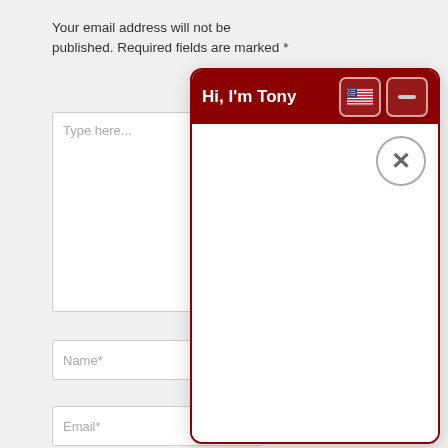Your email address will not be published. Required fields are marked *
[Figure (screenshot): A chat widget popup with dark red header saying 'Hi, I'm Tony', a US flag button and a minimize button in the header, and a close (X) button in the white body area. The widget overlays a web form with textarea, Name* and Email* fields.]